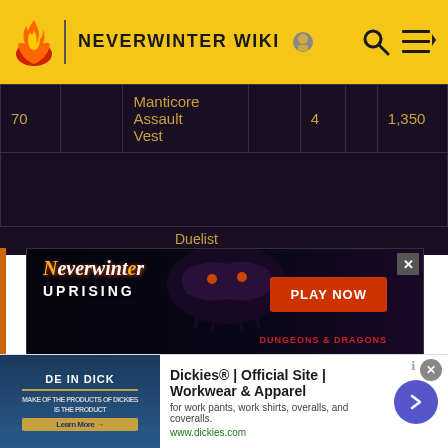NEVERWINTER WIKI
| 70 |  | Manticore Assault Vest |  | 4 |  | 1,350 |
|  |  | Duelist |  |  |  |  |
[Figure (screenshot): Neverwinter Uprising game advertisement banner with 'PLAY NOW' button and Dungeons & Dragons branding]
[Figure (screenshot): Dickies advertisement: 'Dickies® | Official Site | Workwear & Apparel' with link www.dickies.com and right-arrow navigation button]